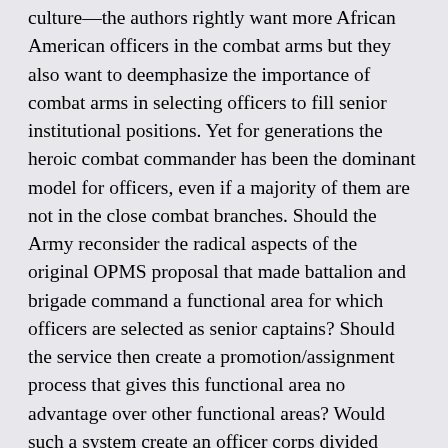culture—the authors rightly want more African American officers in the combat arms but they also want to deemphasize the importance of combat arms in selecting officers to fill senior institutional positions. Yet for generations the heroic combat commander has been the dominant model for officers, even if a majority of them are not in the close combat branches. Should the Army reconsider the radical aspects of the original OPMS proposal that made battalion and brigade command a functional area for which officers are selected as senior captains? Should the service then create a promotion/assignment process that gives this functional area no advantage over other functional areas? Would such a system create an officer corps divided against itself (one of the concerns that killed the command as a functional area proposal) where officers